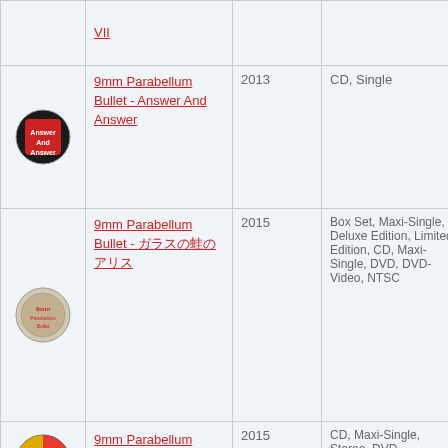| Image | Title | Year | Format |
| --- | --- | --- | --- |
| [image] | VII |  |  |
| [image] | 9mm Parabellum Bullet - Answer And Answer | 2013 | CD, Single |
| [image] | 9mm Parabellum Bullet - ガラスの街のアリス | 2015 | Box Set, Maxi-Single, Deluxe Edition, Limited Edition, CD, Maxi-Single, DVD, DVD-Video, NTSC |
| [image] | 9mm Parabellum Bullet - ... | 2015 | CD, Maxi-Single, Stereo, DVD |